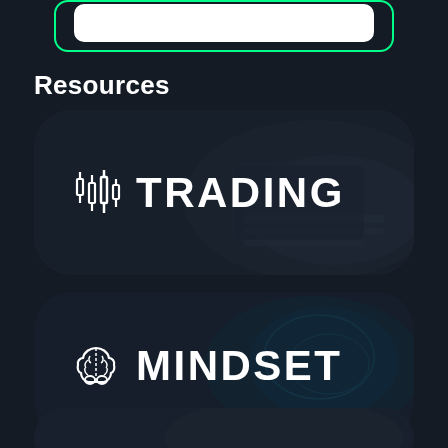[Figure (infographic): White pill/capsule shape with green neon border at top of screen, partially cropped]
Resources
[Figure (infographic): Dark rounded card with candlestick chart icon and TRADING text in white bold font, background shows person at computer]
[Figure (infographic): Dark rounded card with brain icon and MINDSET text in white bold font, background shows glowing brain illustration]
[Figure (infographic): Partially visible third dark rounded card at bottom of screen]